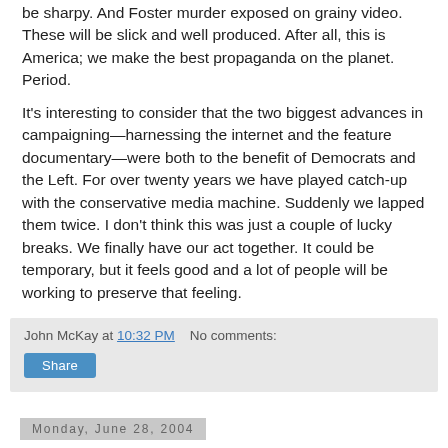be sharpy. And Foster murder exposed on grainy video. These will be slick and well produced. After all, this is America; we make the best propaganda on the planet. Period.
It's interesting to consider that the two biggest advances in campaigning—harnessing the internet and the feature documentary—were both to the benefit of Democrats and the Left. For over twenty years we have played catch-up with the conservative media machine. Suddenly we lapped them twice. I don't think this was just a couple of lucky breaks. We finally have our act together. It could be temporary, but it feels good and a lot of people will be working to preserve that feeling.
John McKay at 10:32 PM   No comments:
Share
Monday, June 28, 2004
Sperm in the news